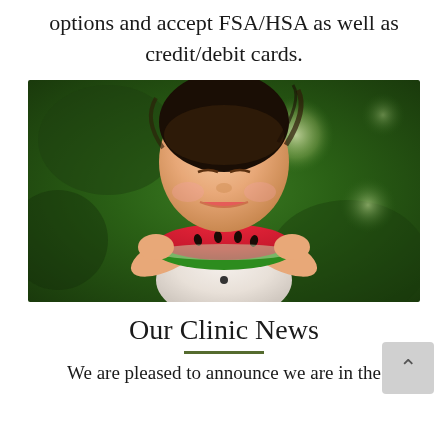options and accept FSA/HSA as well as credit/debit cards.
[Figure (photo): A young girl eating a slice of watermelon, smiling, with a blurred green outdoor background.]
Our Clinic News
We are pleased to announce we are in the